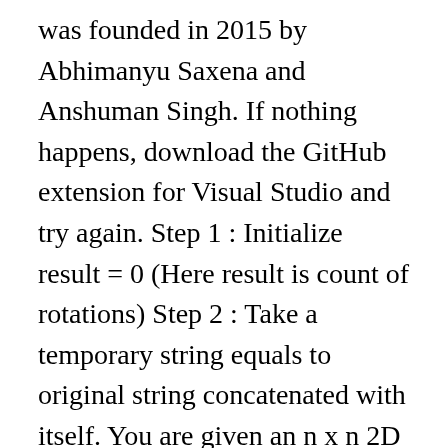was founded in 2015 by Abhimanyu Saxena and Anshuman Singh. If nothing happens, download the GitHub extension for Visual Studio and try again. Step 1 : Initialize result = 0 (Here result is count of rotations) Step 2 : Take a temporary string equals to original string concatenated with itself. You are given an n x n 2D matrix representing an image. As this time can be very large, give the answer modulo 109+7. Fans, pulleys and hardware are plated to resist corrosion and special marine flame arrestor screens Solution: int Solution::longestConsecutive(const vector &A) { // Do not write main() function. Simmonds (1966) reported that vinegar has been prepared by fermenting a mash of